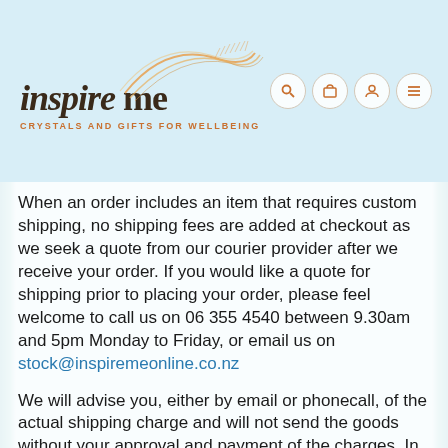[Figure (logo): Inspire Me logo with swirl graphic and tagline 'CRYSTALS AND GIFTS FOR WELLBEING', with navigation icons (search, cart, account, menu) on the right]
When an order includes an item that requires custom shipping, no shipping fees are added at checkout as we seek a quote from our courier provider after we receive your order. If you would like a quote for shipping prior to placing your order, please feel welcome to call us on 06 355 4540 between 9.30am and 5pm Monday to Friday, or email us on stock@inspiremeonline.co.nz
We will advise you, either by email or phonecall, of the actual shipping charge and will not send the goods without your approval and payment of the charges. In cases where the shipping is more than you're willing to spend, a refund is able to be issued immediately. Click and Collect is also an option if you're local.
Orders are delivered by NZ Couriers and require a